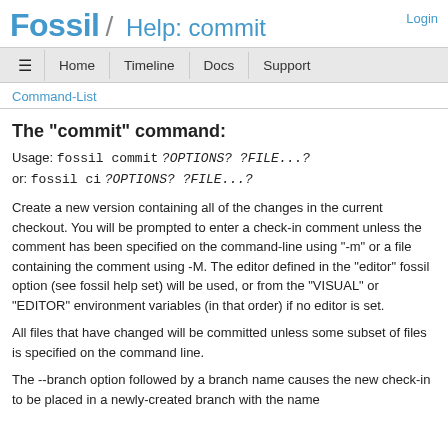Fossil / Help: commit   Login
≡  Home  Timeline  Docs  Support
Command-List
The "commit" command:
Usage: fossil commit ?OPTIONS? ?FILE...?
or: fossil ci ?OPTIONS? ?FILE...?
Create a new version containing all of the changes in the current checkout. You will be prompted to enter a check-in comment unless the comment has been specified on the command-line using "-m" or a file containing the comment using -M. The editor defined in the "editor" fossil option (see fossil help set) will be used, or from the "VISUAL" or "EDITOR" environment variables (in that order) if no editor is set.
All files that have changed will be committed unless some subset of files is specified on the command line.
The --branch option followed by a branch name causes the new check-in to be placed in a newly-created branch with the name